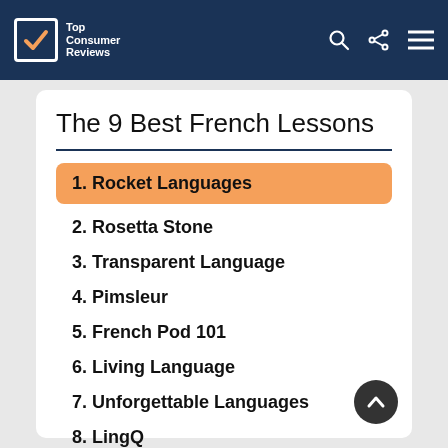Top Consumer Reviews
The 9 Best French Lessons
1. Rocket Languages
2. Rosetta Stone
3. Transparent Language
4. Pimsleur
5. French Pod 101
6. Living Language
7. Unforgettable Languages
8. LingQ
9. Strokes International